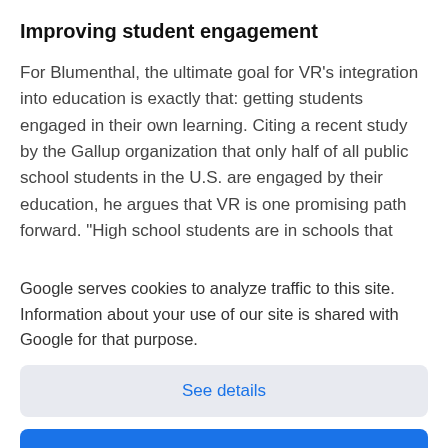Improving student engagement
For Blumenthal, the ultimate goal for VR’s integration into education is exactly that: getting students engaged in their own learning. Citing a recent study by the Gallup organization that only half of all public school students in the U.S. are engaged by their education, he argues that VR is one promising path forward. “High school students are in schools that
Google serves cookies to analyze traffic to this site. Information about your use of our site is shared with Google for that purpose.
See details
Ok, got it